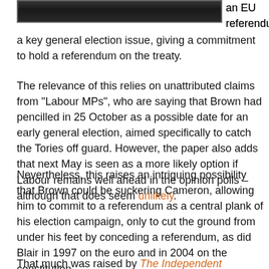[Figure (photo): Partial photo strip at top of page showing a crowd of people]
an EU referendum a key general election issue, giving a commitment to hold a referendum on the treaty.
The relevance of this relies on unattributed claims from "Labour MPs", who are saying that Brown had pencilled in 25 October as a possible date for an early general election, aimed specifically to catch the Tories off guard. However, the paper also adds that next May is seen as a more likely option if Labour remains well ahead in the opinion polls – although that does seem unlikely.
Nevertheless, this raises an intriguing possibility that Brown could be suckering Cameron, allowing him to commit to a referendum as a central plank of his election campaign, only to cut the ground from under his feet by conceding a referendum, as did Blair in 1997 on the euro and in 2004 on the constitution.
That much was raised by The Independent yesterday, and by Political Betting which speculates that such a move could